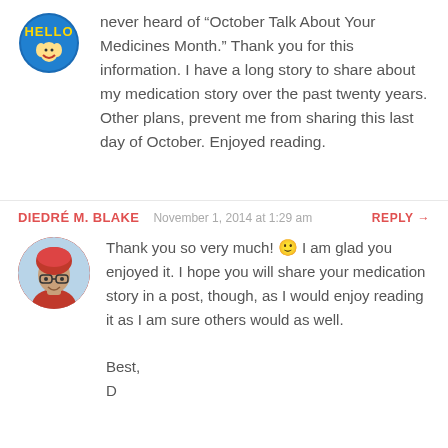never heard of “October Talk About Your Medicines Month.” Thank you for this information. I have a long story to share about my medication story over the past twenty years. Other plans, prevent me from sharing this last day of October. Enjoyed reading.
DIEDRÉ M. BLAKE   November 1, 2014 at 1:29 am   REPLY →
Thank you so very much! 🙂 I am glad you enjoyed it. I hope you will share your medication story in a post, though, as I would enjoy reading it as I am sure others would as well.

Best,
D